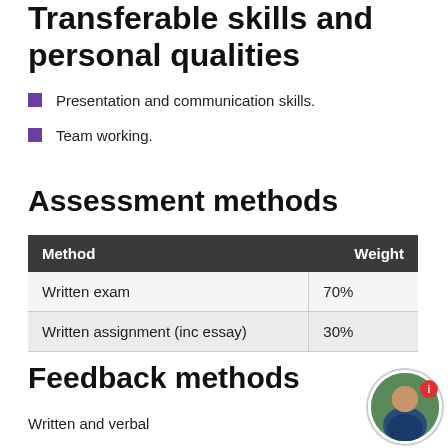Transferable skills and personal qualities
Presentation and communication skills.
Team working.
Assessment methods
| Method | Weight |
| --- | --- |
| Written exam | 70% |
| Written assignment (inc essay) | 30% |
Feedback methods
Written and verbal